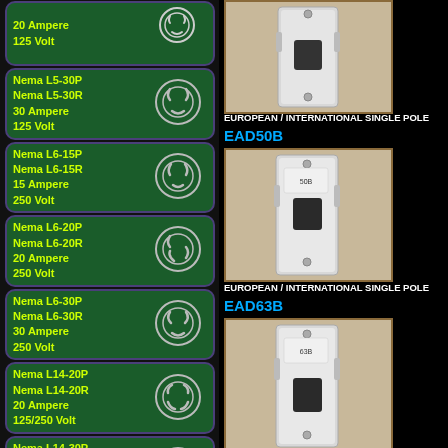Nema L5-30P
Nema L5-30R
30 Ampere
125 Volt
Nema L6-15P
Nema L6-15R
15 Ampere
250 Volt
Nema L6-20P
Nema L6-20R
20 Ampere
250 Volt
Nema L6-30P
Nema L6-30R
30 Ampere
250 Volt
Nema L14-20P
Nema L14-20R
20 Ampere
125/250 Volt
Nema L14-30P
Nema L14-30R
30 Ampere
250 Volt
EUROPEAN / INTERNATIONAL SINGLE POLE
[Figure (photo): European/International single pole circuit breaker, gray housing with black toggle switch]
EUROPEAN / INTERNATIONAL SINGLE POLE
EAD50B
[Figure (photo): EAD50B European/International single pole circuit breaker, gray housing with black toggle switch]
EUROPEAN / INTERNATIONAL SINGLE POLE
EAD63B
[Figure (photo): EAD63B European/International single pole circuit breaker, gray housing with black toggle switch]
Search By Keyword: